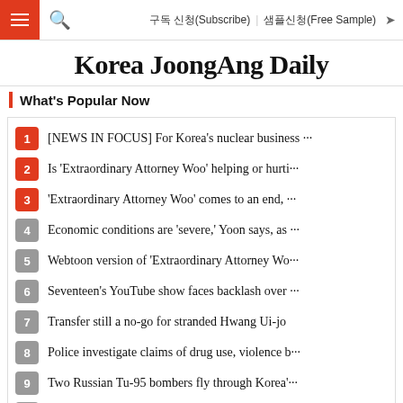구독 신청(Subscribe)  샘플신청(Free Sample)
Korea JoongAng Daily
What's Popular Now
[NEWS IN FOCUS] For Korea's nuclear business ···
Is 'Extraordinary Attorney Woo' helping or hurti···
'Extraordinary Attorney Woo' comes to an end, ···
Economic conditions are 'severe,' Yoon says, as ···
Webtoon version of 'Extraordinary Attorney Wo···
Seventeen's YouTube show faces backlash over ···
Transfer still a no-go for stranded Hwang Ui-jo
Police investigate claims of drug use, violence b···
Two Russian Tu-95 bombers fly through Korea'···
Suicides in Suwon are wake-up call, says Yoon S···